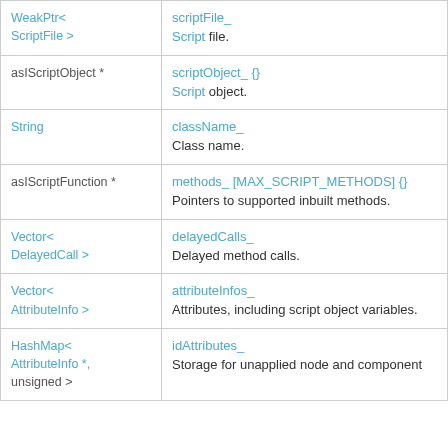| Type | Name / Description |
| --- | --- |
| WeakPtr< ScriptFile > | scriptFile_
Script file. |
| asIScriptObject * | scriptObject_ {}
Script object. |
| String | className_
Class name. |
| asIScriptFunction * | methods_ [MAX_SCRIPT_METHODS] {}
Pointers to supported inbuilt methods. |
| Vector< DelayedCall > | delayedCalls_
Delayed method calls. |
| Vector< AttributeInfo > | attributeInfos_
Attributes, including script object variables. |
| HashMap< AttributeInfo *, unsigned > | idAttributes_
Storage for unapplied node and component |